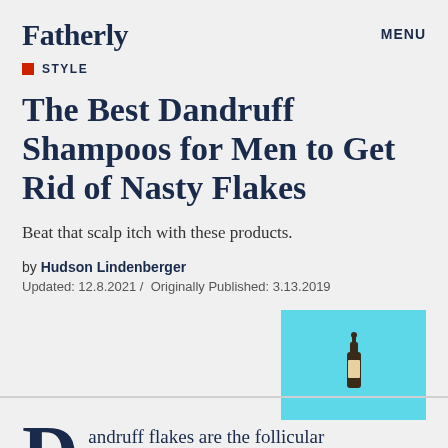Fatherly   MENU
STYLE
The Best Dandruff Shampoos for Men to Get Rid of Nasty Flakes
Beat that scalp itch with these products.
by Hudson Lindenberger
Updated: 12.8.2021 / Originally Published: 3.13.2019
[Figure (illustration): Light blue rectangle with a small illustration of a shampoo/dropper bottle in the center]
andruff flakes are the follicular